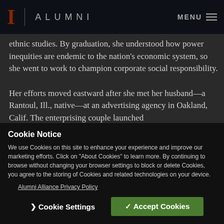I | ALUMNI  MENU
ethnic studies. By graduation, she understood how power inequities are endemic to the nation's economic system, so she went to work to champion corporate social responsibility.

Her efforts moved eastward after she met her husband—a Rantoul, Ill., native—at an advertising agency in Oakland, Calif. The enterprising couple launched
Cookie Notice
We use Cookies on this site to enhance your experience and improve our marketing efforts. Click on "About Cookies" to learn more. By continuing to browse without changing your browser settings to block or delete Cookies, you agree to the storing of Cookies and related technologies on your device.
Alumni Alliance Privacy Policy
❯ Cookie Settings    ✓ Accept Cookies